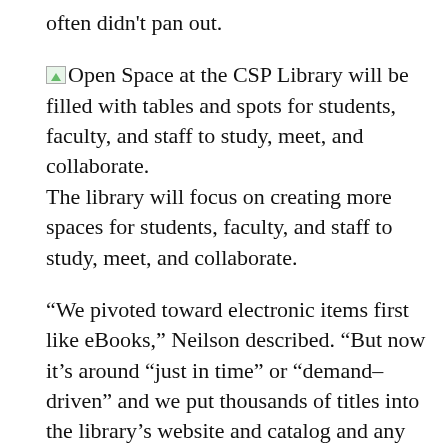often didn't pan out.
Open Space at the CSP Library will be filled with tables and spots for students, faculty, and staff to study, meet, and collaborate.
The library will focus on creating more spaces for students, faculty, and staff to study, meet, and collaborate.
“We pivoted toward electronic items first like eBooks,” Neilson described. “But now it’s around “just in time” or “demand-driven” and we put thousands of titles into the library’s website and catalog and any student can access them and we [the library] only buys them once it’s been used by a student.”